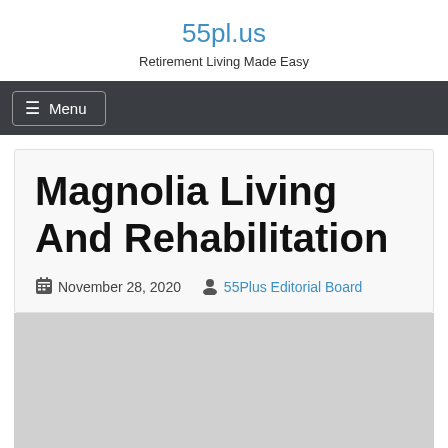55pl.us
Retirement Living Made Easy
≡ Menu
Magnolia Living And Rehabilitation
November 28, 2020  55Plus Editorial Board
[Figure (photo): Gray placeholder image below the article header]